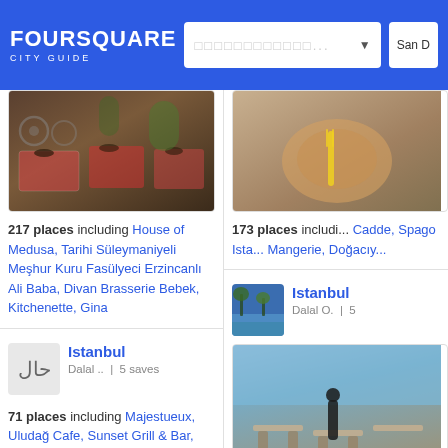FOURSQUARE CITY GUIDE
[Figure (photo): Restaurant outdoor seating with red checkered tablecloths and wrought iron chairs]
217 places including House of Medusa, Tarihi Süleymaniyeli Meşhur Kuru Fasülyeci Erzincanlı Ali Baba, Divan Brasserie Bebek, Kitchenette, Gina
[Figure (photo): Close-up of a colorful plate with food and yellow fork]
173 places includi... Cadde, Spago Ista... Mangerie, Doğacıy...
Istanbul
Dalal .. | 5 saves
71 places including Majestueux, Uludağ Cafe, Sunset Grill & Bar, Arada Café, La Marzocco
Istanbul
Dalal O. | 5
[Figure (photo): Restaurant by the sea with outdoor seating and a waiter in black]